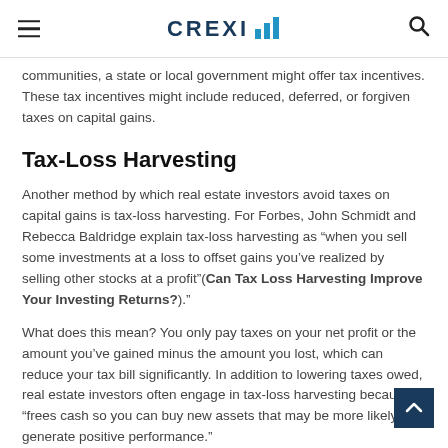CREXI
communities, a state or local government might offer tax incentives. These tax incentives might include reduced, deferred, or forgiven taxes on capital gains.
Tax-Loss Harvesting
Another method by which real estate investors avoid taxes on capital gains is tax-loss harvesting. For Forbes, John Schmidt and Rebecca Baldridge explain tax-loss harvesting as “when you sell some investments at a loss to offset gains you’ve realized by selling other stocks at a profit”(Can Tax Loss Harvesting Improve Your Investing Returns?)."
What does this mean? You only pay taxes on your net profit or the amount you’ve gained minus the amount you lost, which can reduce your tax bill significantly. In addition to lowering taxes owed, real estate investors often engage in tax-loss harvesting because it “frees cash so you can buy new assets that may be more likely to generate positive performance."